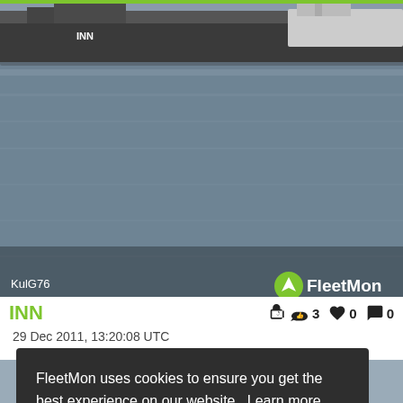[Figure (photo): Photograph of a cargo barge/ship named INN on a river, grey water, taken from shore or another vessel. FleetMon watermark in bottom right, credit 'KulG76' in bottom left.]
INN
29 Dec 2011, 13:20:08 UTC
[Figure (screenshot): Cookie consent banner overlay on FleetMon website with text: 'FleetMon uses cookies to ensure you get the best experience on our website. Learn more' and a green 'Got it!' button.]
FleetMon uses cookies to ensure you get the best experience on our website. Learn more
Got it!